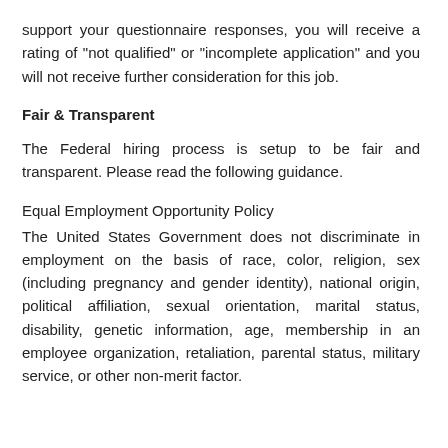support your questionnaire responses, you will receive a rating of "not qualified" or "incomplete application" and you will not receive further consideration for this job.
Fair & Transparent
The Federal hiring process is setup to be fair and transparent. Please read the following guidance.
Equal Employment Opportunity Policy
The United States Government does not discriminate in employment on the basis of race, color, religion, sex (including pregnancy and gender identity), national origin, political affiliation, sexual orientation, marital status, disability, genetic information, age, membership in an employee organization, retaliation, parental status, military service, or other non-merit factor.